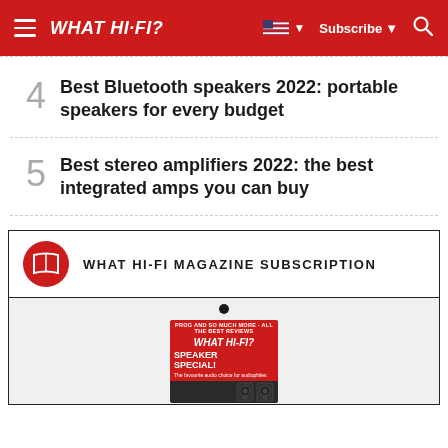WHAT HI-FI?  Subscribe
4  Best Bluetooth speakers 2022: portable speakers for every budget
5  Best stereo amplifiers 2022: the best integrated amps you can buy
WHAT HI-FI MAGAZINE SUBSCRIPTION
[Figure (photo): What Hi-Fi? magazine cover showing 'SPEAKER SPECIAL!' edition on a tablet device]